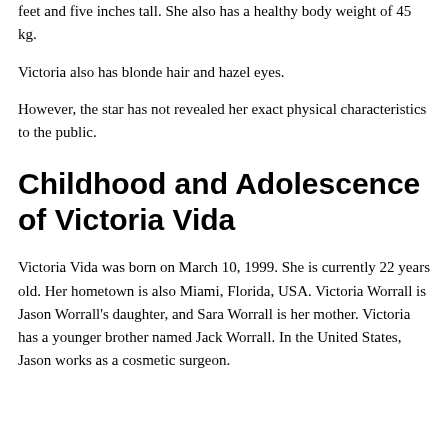feet and five inches tall. She also has a healthy body weight of 45 kg.
Victoria also has blonde hair and hazel eyes.
However, the star has not revealed her exact physical characteristics to the public.
Childhood and Adolescence of Victoria Vida
Victoria Vida was born on March 10, 1999. She is currently 22 years old. Her hometown is also Miami, Florida, USA. Victoria Worrall is Jason Worrall's daughter, and Sara Worrall is her mother. Victoria has a younger brother named Jack Worrall. In the United States, Jason works as a cosmetic surgeon.